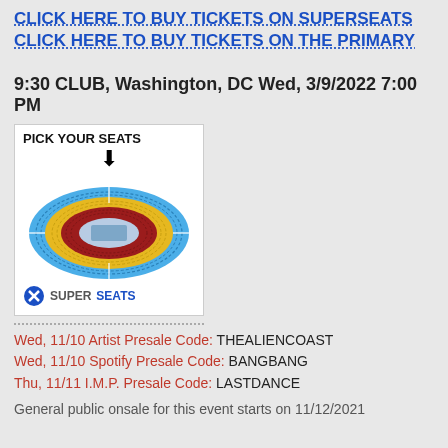CLICK HERE TO BUY TICKETS ON SUPERSEATS
CLICK HERE TO BUY TICKETS ON THE PRIMARY
9:30 CLUB, Washington, DC Wed, 3/9/2022 7:00 PM
[Figure (other): SuperSeats venue seat map showing an arena with colored sections (blue outer, gold middle, red inner) and a PICK YOUR SEATS label with arrow, and SuperSeats logo at bottom]
Wed, 11/10 Artist Presale Code: THEALIENCOAST
Wed, 11/10 Spotify Presale Code: BANGBANG
Thu, 11/11 I.M.P. Presale Code: LASTDANCE
General public onsale for this event starts on 11/12/2021